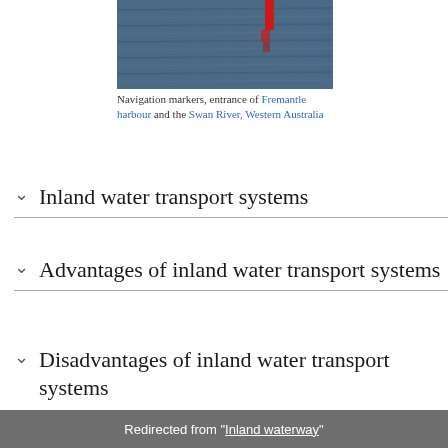[Figure (photo): Navigation markers in water near Fremantle harbour, showing rippling blue-grey water with a red marker/buoy visible]
Navigation markers, entrance of Fremantle harbour and the Swan River, Western Australia
Inland water transport systems
Advantages of inland water transport systems
Disadvantages of inland water transport systems
Redirected from "Inland waterway"